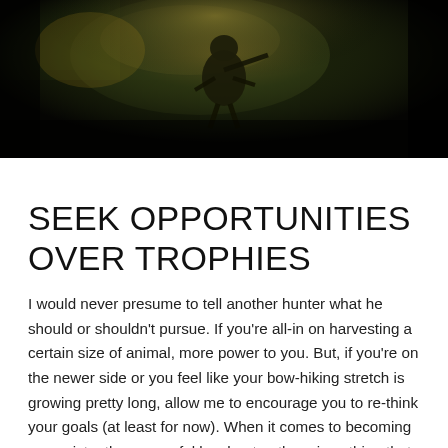[Figure (photo): Aerial or top-down view of a hunter in camouflage gear in a wooded/outdoor setting, dark tones with dappled light]
SEEK OPPORTUNITIES OVER TROPHIES
I would never presume to tell another hunter what he should or shouldn't pursue. If you're all-in on harvesting a certain size of animal, more power to you. But, if you're on the newer side or you feel like your bow-hiking stretch is growing pretty long, allow me to encourage you to re-think your goals (at least for now). When it comes to becoming a consistently successful bowhunter, there is nothing that can replace the value of "at-bats." The more opportunities you have to spot animals, stalk in on them, and try to seal